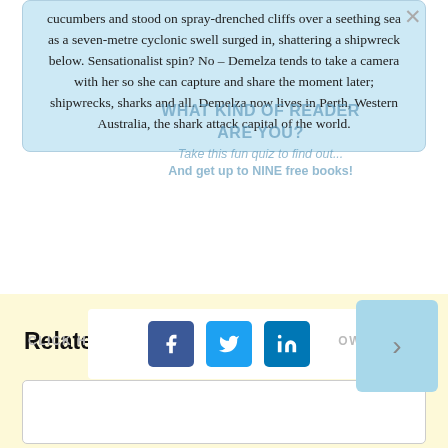cucumbers and stood on spray-drenched cliffs over a seething sea as a seven-metre cyclonic swell surged in, shattering a shipwreck below. Sensationalist spin? No – Demelza tends to take a camera with her so she can capture and share the moment later; shipwrecks, sharks and all. Demelza now lives in Perth, Western Australia, the shark attack capital of the world.
[Figure (infographic): Overlay popup with text: WHAT KIND OF READER ARE YOU? Take this fun quiz to find out... And get up to NINE free books! with close button X in top right]
[Figure (infographic): Social share buttons: Facebook (blue), Twitter (light blue), LinkedIn (dark blue) on white bar; CLICK HERE text on left, OW text on right, light blue button with arrow on far right]
Related posts
[Figure (other): Empty white card/box for related post thumbnail]